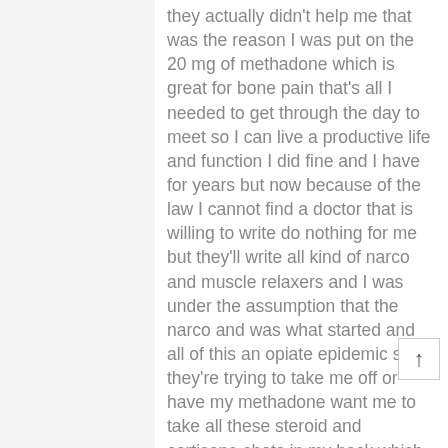they actually didn't help me that was the reason I was put on the 20 mg of methadone which is great for bone pain that's all I needed to get through the day to meet so I can live a productive life and function I did fine and I have for years but now because of the law I cannot find a doctor that is willing to write do nothing for me but they'll write all kind of narco and muscle relaxers and I was under the assumption that the narco and was what started and all of this an opiate epidemic so they're trying to take me off or have my methadone want me to take all these steroid and cortisone shots in my back which I've been doing for the last 13 years and I've solely believe that they have caused more of my health that used I